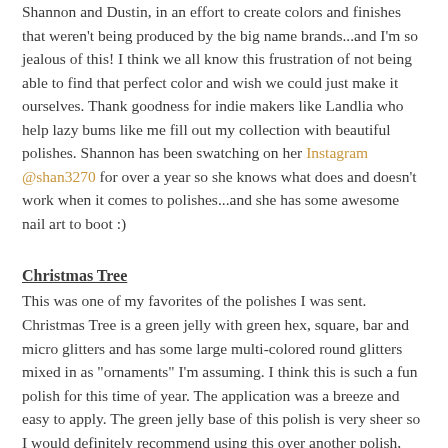Shannon and Dustin, in an effort to create colors and finishes that weren't being produced by the big name brands...and I'm so jealous of this! I think we all know this frustration of not being able to find that perfect color and wish we could just make it ourselves. Thank goodness for indie makers like Landlia who help lazy bums like me fill out my collection with beautiful polishes. Shannon has been swatching on her Instagram @shan3270 for over a year so she knows what does and doesn't work when it comes to polishes...and she has some awesome nail art to boot :)
Christmas Tree
This was one of my favorites of the polishes I was sent. Christmas Tree is a green jelly with green hex, square, bar and micro glitters and has some large multi-colored round glitters mixed in as "ornaments" I'm assuming. I think this is such a fun polish for this time of year. The application was a breeze and easy to apply. The green jelly base of this polish is very sheer so I would definitely recommend using this over another polish, though I'm sure with enough patience you can build up the opacity and get a lit...